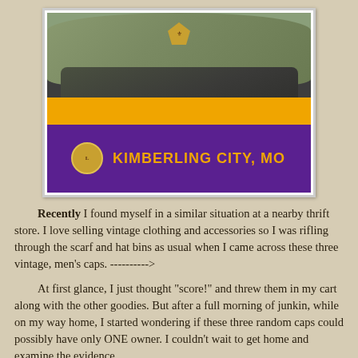[Figure (photo): Three stacked vintage men's caps: an olive green scout cap with diamond patch on top, a dark grey/olive folded cap in the middle, and a Lions Club sash with gold and purple colors reading 'KIMBERLING CITY, MO' with the Lions Club logo on the bottom.]
Recently I found myself in a similar situation at a nearby thrift store. I love selling vintage clothing and accessories so I was rifling through the scarf and hat bins as usual when I came across these three vintage, men's caps. ---------->
At first glance, I just thought "score!" and threw them in my cart along with the other goodies. But after a full morning of junkin, while on my way home, I started wondering if these three random caps could possibly have only ONE owner. I couldn't wait to get home and examine the evidence.